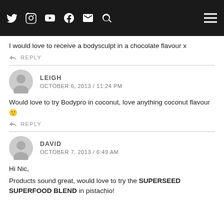Navigation bar with social media icons (Twitter, Instagram, YouTube, Facebook, Email, Search) and hamburger menu
I would love to receive a bodysculpt in a chocolate flavour x
REPLY
LEIGH
OCTOBER 6, 2013 / 11:24 PM
Would love to try Bodypro in coconut, love anything coconut flavour 🙂
REPLY
DAVID
OCTOBER 7, 2013 / 6:49 AM
Hi Nic,
Products sound great, would love to try the SUPERSEED SUPERFOOD BLEND in pistachio!